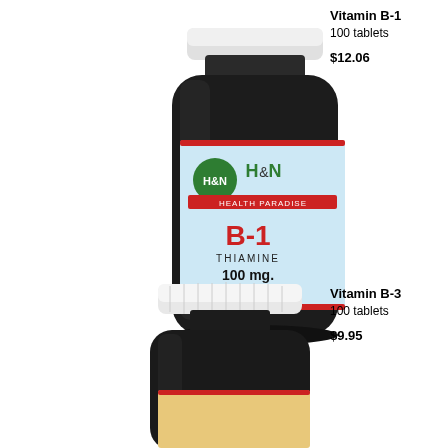[Figure (photo): H&N Health Paradise Vitamin B-1 Thiamine 100mg 100 Tablets dietary supplement bottle with dark glass and blue/white label]
Vitamin B-1
100 tablets
$12.06
[Figure (photo): H&N Health Paradise Vitamin B-3 supplement bottle, partially visible, dark glass with white cap]
Vitamin B-3
100 tablets
$9.95